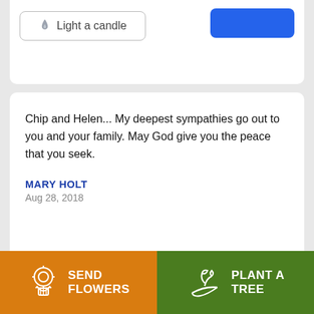[Figure (screenshot): Light a candle button with flame icon and a blue button partially visible at top]
Chip and Helen... My deepest sympathies go out to you and your family. May God give you the peace that you seek.
MARY HOLT
Aug 28, 2018
[Figure (illustration): Send Flowers button with flower bouquet icon (orange background)]
[Figure (illustration): Plant a Tree button with hand holding plant icon (green background)]